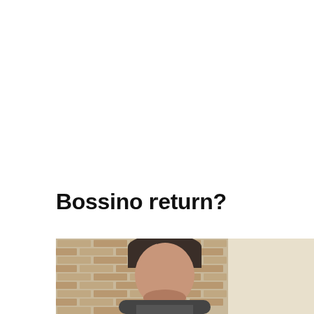Bossino return?
[Figure (photo): A man with dark hair photographed from above the shoulders, standing in front of a brick wall background with a light-colored wall visible to the right.]